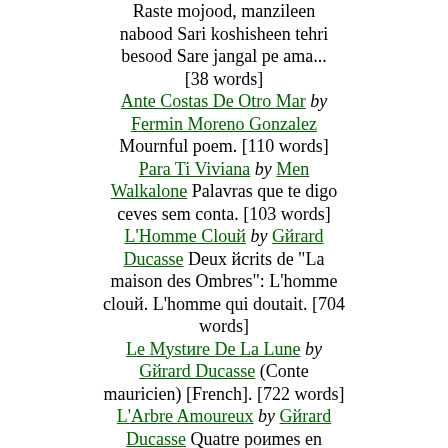Raste mojood, manzileen nabood Sari koshisheen tehri besood Sare jangal pe ama... [38 words]
Ante Costas De Otro Mar by Fermin Moreno Gonzalez Mournful poem. [110 words]
Para Ti Viviana by Men Walkalone Palavras que te digo ceves sem conta. [103 words]
L'Homme Clouй by Gйrard Ducasse Deux йcrits de "La maison des Ombres": L'homme clouй. L'homme qui doutait. [704 words]
Le Mystиre De La Lune by Gйrard Ducasse (Conte mauricien) [French]. [722 words]
L'Arbre Amoureux by Gйrard Ducasse Quatre poиmes en prose: L'arbre amoureux. Le rouge-gorge. La descente aux enfers. L'arbre... [752 words]
Conte De Nол by Gйrard Ducasse Conte [French]. [1,050 words]
Offrande by Fermin Moreno Gonzalez French horror poem. [155 words]
No He De Querer A Nadie by